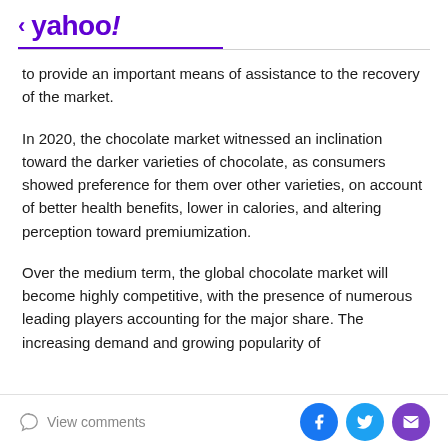< yahoo!
to provide an important means of assistance to the recovery of the market.
In 2020, the chocolate market witnessed an inclination toward the darker varieties of chocolate, as consumers showed preference for them over other varieties, on account of better health benefits, lower in calories, and altering perception toward premiumization.
Over the medium term, the global chocolate market will become highly competitive, with the presence of numerous leading players accounting for the major share. The increasing demand and growing popularity of
View comments